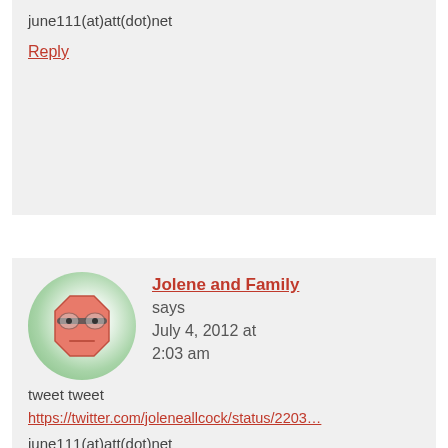june111(at)att(dot)net
Reply
[Figure (illustration): Cartoon avatar: a round green circle containing a pinkish-red octagon-shaped face with glasses and a neutral expression]
Jolene and Family says July 4, 2012 at 2:03 am
tweet tweet
https://twitter.com/joleneallcock/status/2203...
june111(at)att(dot)net
Reply